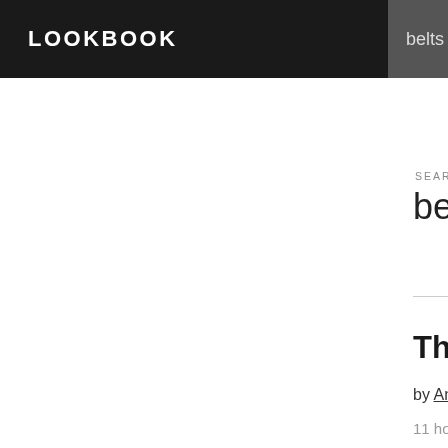LOOKBOOK
belts
SEARCH
belts
The mini skort
by Anna B., Blogger www.annaborisov
11 hours ago · 0 comments
[Figure (photo): A person wearing a mini skort, photographed outdoors with a blue sky and building roof/wall visible in the background.]